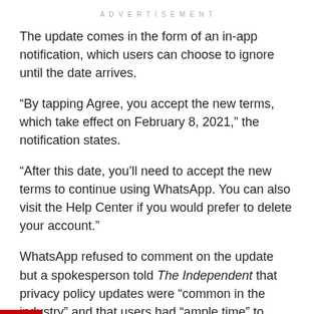ADVERTISEMENT
The update comes in the form of an in-app notification, which users can choose to ignore until the date arrives.
“By tapping Agree, you accept the new terms, which take effect on February 8, 2021,” the notification states.
“After this date, you’ll need to accept the new terms to continue using WhatsApp. You can also visit the Help Center if you would prefer to delete your account.”
WhatsApp refused to comment on the update but a spokesperson told The Independent that privacy policy updates were “common in the industry” and that users had “ample time” to review them.
The update is designed to “offer integrations across the